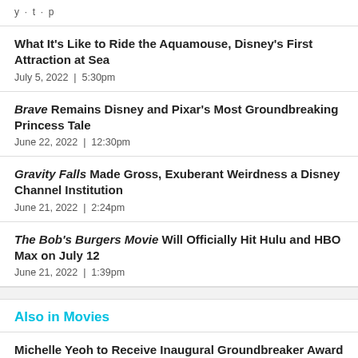y · t · p
What It's Like to Ride the Aquamouse, Disney's First Attraction at Sea
July 5, 2022  |  5:30pm
Brave Remains Disney and Pixar's Most Groundbreaking Princess Tale
June 22, 2022  |  12:30pm
Gravity Falls Made Gross, Exuberant Weirdness a Disney Channel Institution
June 21, 2022  |  2:24pm
The Bob's Burgers Movie Will Officially Hit Hulu and HBO Max on July 12
June 21, 2022  |  1:39pm
Also in Movies
Michelle Yeoh to Receive Inaugural Groundbreaker Award at 2022 TIFF